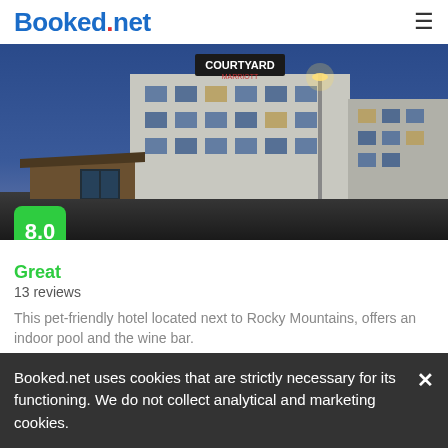Booked.net
[Figure (photo): Nighttime exterior photo of Courtyard by Marriott hotel with illuminated sign, lights, and covered entrance canopy. Score badge showing 8.0 overlaid at bottom left.]
Great
13 reviews
This pet-friendly hotel located next to Rocky Mountains, offers an indoor pool and the wine bar.
from us$ 172/night
SELECT
Booked.net uses cookies that are strictly necessary for its functioning. We do not collect analytical and marketing cookies.